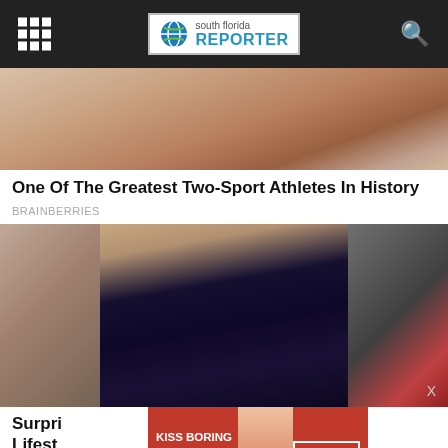south florida REPORTER
[Figure (photo): Cropped photo showing lower body of person in beige/nude colored outfit]
One Of The Greatest Two-Sport Athletes In History
BRAINBERRIES
[Figure (photo): Photo of a bald muscular man in a navy blue velvet tuxedo jacket with black bow tie, smiling at a red carpet event. A woman with brown curly hair is visible to the left.]
Surpri... sh Lifest... KISS BORING SHOP NOW LPS GOODBYE